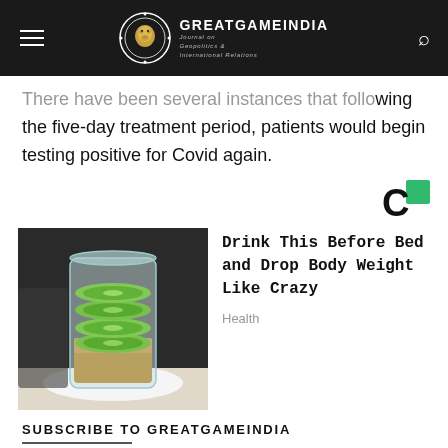GREATGAMEINDIA — Journal on Geopolitics & International Relations
There have been several instances that following the five-day treatment period, patients would begin testing positive for Covid again.
[Figure (logo): Circular 'C' sponsor/ad logo in black and green]
[Figure (photo): Photo of a glass jar containing lime slices and grains, placed on a white plate]
Drink This Before Bed and Drop Body Weight Like Crazy
Health
SUBSCRIBE TO GREATGAMEINDIA
Enter your email address to subscribe to GGI and